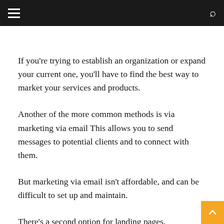Navigation header with hamburger menu and search icon
If you’re trying to establish an organization or expand your current one, you’ll have to find the best way to market your services and products.
Another of the more common methods is via marketing via email This allows you to send messages to potential clients and to connect with them.
But marketing via email isn’t affordable, and can be difficult to set up and maintain.
There’s a second option for landing pages.